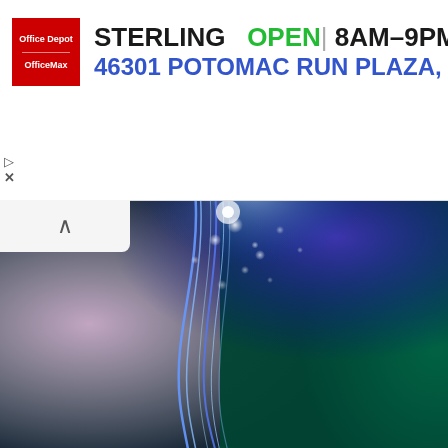[Figure (screenshot): Ad banner for Office Depot/OfficeMax store in Sterling showing store name, OPEN status, hours 8AM-9PM, address 46301 Potomac Run Plaza S, with red Office Depot logo and blue navigation arrow icon]
[Figure (illustration): Abstract colorful background image with glowing blue wavy lines/streaks against a background transitioning from pink/white on left to teal/green on right, with bokeh light effects]